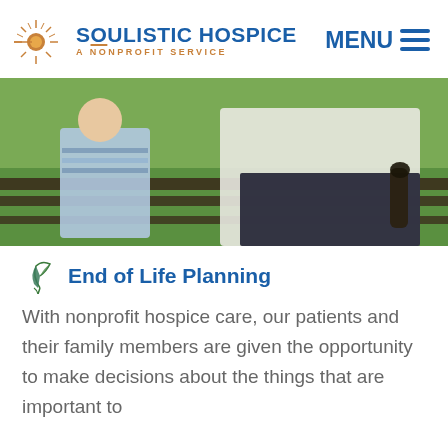[Figure (logo): Soulistic Hospice logo with sun/star graphic and text 'SOULISTIC HOSPICE A NONPROFIT SERVICE']
MENU ≡
[Figure (photo): An elderly person and a child sitting together on a park bench outdoors on green grass]
End of Life Planning
With nonprofit hospice care, our patients and their family members are given the opportunity to make decisions about the things that are important to